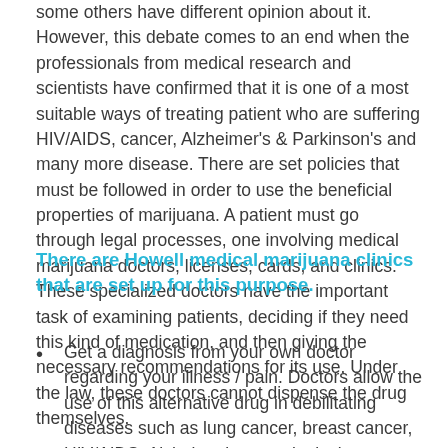some others have different opinion about it. However, this debate comes to an end when the professionals from medical research and scientists have confirmed that it is one of a most suitable ways of treating patient who are suffering HIV/AIDS, cancer, Alzheimer's & Parkinson's and many more disease. There are set policies that must be followed in order to use the beneficial properties of marijuana. A patient must go through legal processes, one involving medical marijuana doctors, licenses, cards, and clinics. These specialized doctors have the important task of examining patients, deciding if they need this kind of medication, and then giving the necessary recommendations for its use. Under the law, these doctors cannot dispense the drug themselves.
There are Howell medical marijuana clinics that are set up for this purpose.
Get a diagnosis from your own doctor regarding your illness / pain. Doctors allow the use of this alternative drug in debilitating diseases such as lung cancer, breast cancer, HIV/AIDS, Alzheimer's, neurological